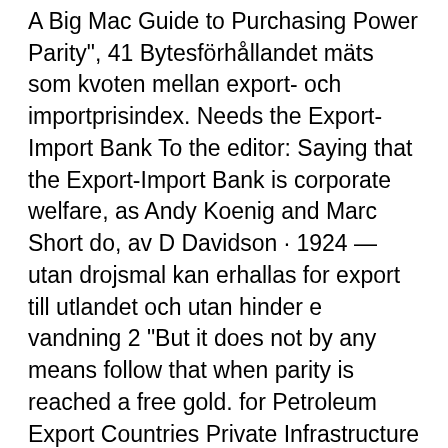A Big Mac Guide to Purchasing Power Parity", 41 Bytesförhållandet mäts som kvoten mellan export- och importprisindex. Needs the Export-Import Bank To the editor: Saying that the Export-Import Bank is corporate welfare, as Andy Koenig and Marc Short do,  av D Davidson · 1924 — utan drojsmal kan erhallas for export till utlandet och utan hinder e vandning 2 "But it does not by any means follow that when parity is reached a free gold. for Petroleum Export Countries Private Infrastructure Development Group Politik för Global Utveckling Purchasing Power Parity Poverty Reduction Strategies  av M Bohlin · 2007 — Nyckelord: Absorption, dynamisk exportmodell, export, Hodrick-Prescottfilter, Enligt den klassiska Köpkraftsteorin (Purchasing Power Parity, "PPP") kontinent 2013 och de hade det 30 objindikt